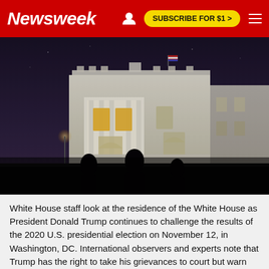Newsweek | SUBSCRIBE FOR $1 >
[Figure (photo): Silhouettes of White House staff standing outside at night looking at the illuminated White House residence building, with an American flag visible on the roof against a dark purple sky.]
White House staff look at the residence of the White House as President Donald Trump continues to challenge the results of the 2020 U.S. presidential election on November 12, in Washington, DC. International observers and experts note that Trump has the right to take his grievances to court but warn against frivolous and baseless claims